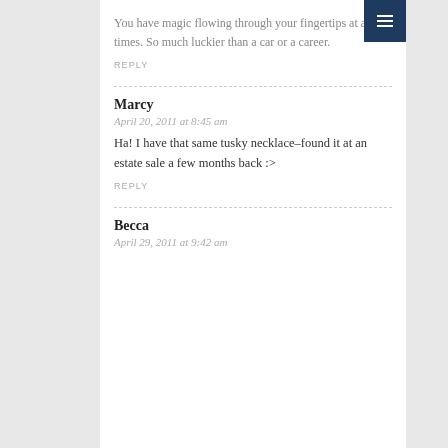You have magic flowing through your fingertips at all times. So much luckier than a car or a career.
REPLY
Marcy
April 20, 2011 at 8:45 am
Ha! I have that same tusky necklace–found it at an estate sale a few months back :>
REPLY
Becca
April 29, 2011 at 9:42 am